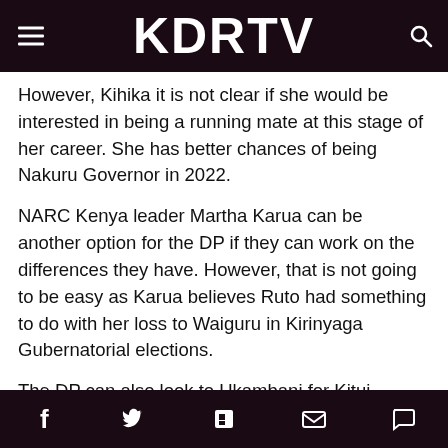KDRTV
However, Kihika it is not clear if she would be interested in being a running mate at this stage of her career. She has better chances of being Nakuru Governor in 2022.
NARC Kenya leader Martha Karua can be another option for the DP if they can work on the differences they have. However, that is not going to be easy as Karua believes Ruto had something to do with her loss to Waiguru in Kirinyaga Gubernatorial elections.
The DP can also look to Ukambani for Kitui Governor Charity Ngilu. But Ngilu is currently in Raila’s Kieleweke.
It will be interesting to see who becomes Ruto’s running mate.
Social share icons: Facebook, Twitter, Flipboard, Email, Comment